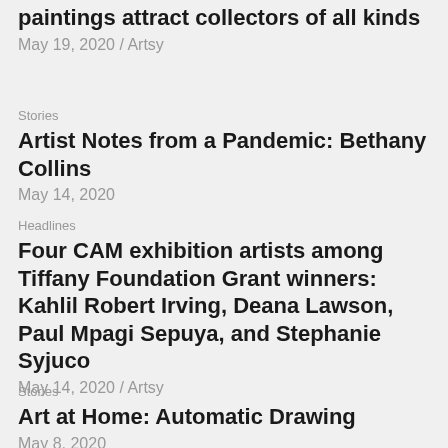paintings attract collectors of all kinds
May 19, 2020 / Artsy
Stories
Artist Notes from a Pandemic: Bethany Collins
May 14, 2020
Headlines
Four CAM exhibition artists among Tiffany Foundation Grant winners: Kahlil Robert Irving, Deana Lawson, Paul Mpagi Sepuya, and Stephanie Syjuco
May 14, 2020 / Artsy
Stories
Art at Home: Automatic Drawing
May 8, 2020